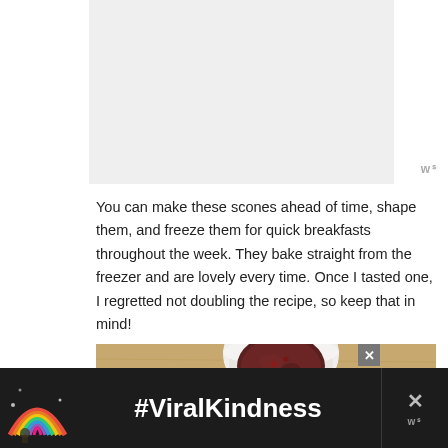[Figure (photo): Light gray placeholder image area at top of page]
You can make these scones ahead of time, shape them, and freeze them for quick breakfasts throughout the week. They bake straight from the freezer and are lovely every time. Once I tasted one, I regretted not doubling the recipe, so keep that in mind!
[Figure (photo): Top-down photo of a small white ramekin filled with dark jam or preserves on a wooden surface]
[Figure (infographic): Dark advertisement banner with rainbow illustration and #ViralKindness text in white, with close button]